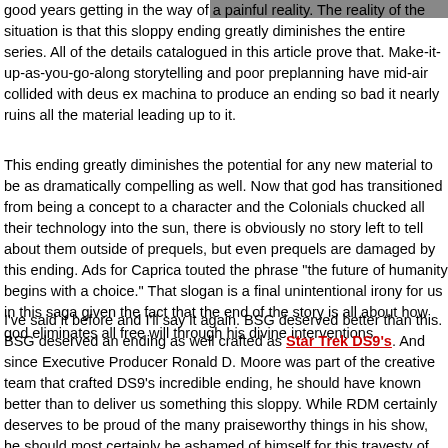[Figure (photo): Partial image visible at top right of page, dark/cropped]
good years getting in the way of a painful reality. The reality of the situation is that this sloppy ending greatly diminishes the entire series. All of the details catalogued in this article prove that. Make-it-up-as-you-go-along storytelling and poor preplanning have mid-air collided with deus ex machina to produce an ending so bad it nearly ruins all the material leading up to it.
This ending greatly diminishes the potential for any new material to be as dramatically compelling as well. Now that god has transitioned from being a concept to a character and the Colonials chucked all their technology into the sun, there is obviously no story left to tell about them outside of prequels, but even prequels are damaged by this ending. Ads for Caprica touted the phrase "the future of humanity begins with a choice." That slogan is a final unintentional irony for us in this saga given the fact that the end of the story is all about how god eliminates all free will through his divine interventions.
I've said it before and I'll say it again. BSG deserved better than this. BSG deserved an ending as well crafted as Star Trek DS9's. And since Executive Producer Ronald D. Moore was part of the creative team that crafted DS9's incredible ending, he should have known better than to deliver us something this sloppy. While RDM certainly deserves to be proud of the many praiseworthy things in his show, he should most certainly be ashamed of himself for this travesty of an ending to what was otherwise the greatest science fiction show since Star Trek. So say we all.